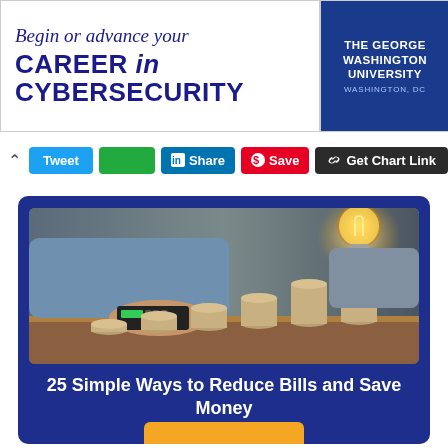[Figure (illustration): Advertisement banner for The George Washington University cybersecurity program. Blue italic serif text reads 'Begin or advance your' and bold sans-serif text reads 'CAREER in CYBERSECURITY'. Right side shows university logo on dark blue background.]
[Figure (screenshot): Social sharing buttons bar showing: chevron up, Tweet button (blue), green button, Share button (LinkedIn blue), Save button (Pinterest red), Get Chart Link button (dark grey).]
[Figure (photo): Photo of stacks of coins growing in height from left to right, with a hand holding a glowing light bulb on top of the tallest stack. Background shows a calculator and a person's torso in a blue shirt.]
25 Simple Ways to Reduce Bills and Save Money